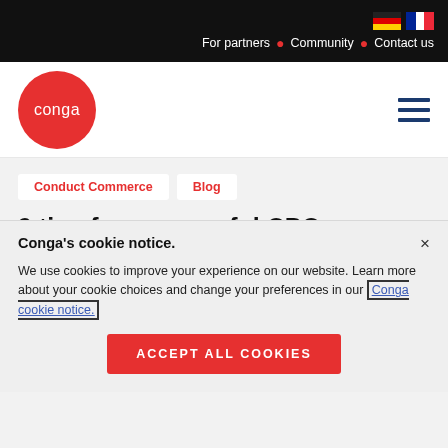For partners • Community • Contact us
[Figure (logo): Conga red circle logo with white text 'conga']
Conduct Commerce   Blog
9 tips for successful CPQ
Conga's cookie notice.
We use cookies to improve your experience on our website. Learn more about your cookie choices and change your preferences in our Conga cookie notice.
Accept All Cookies